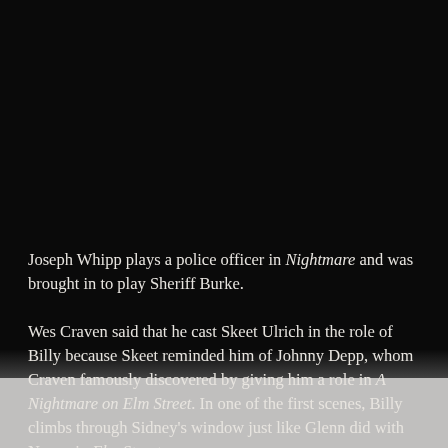Joseph Whipp plays a police officer in Nightmare and was brought in to play Sheriff Burke.
Wes Craven said that he cast Skeet Ulrich in the role of Billy because Skeet reminded him of Johnny Depp, whom Craven famously discovered by giving him a role in A Nightmare on Elm Street. In one of the first scenes, Billy climbs through Sidney's window just like Glenn did with Nancy in Elm Street.